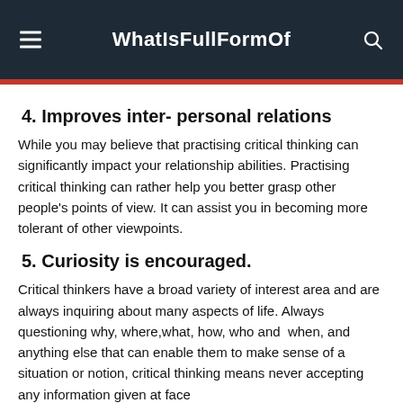WhatIsFullFormOf
4. Improves inter- personal relations
While you may believe that practising critical thinking can significantly impact your relationship abilities. Practising critical thinking can rather help you better grasp other people's points of view. It can assist you in becoming more tolerant of other viewpoints.
5. Curiosity is encouraged.
Critical thinkers have a broad variety of interest area and are always inquiring about many aspects of life. Always questioning why, where,what, how, who and  when, and anything else that can enable them to make sense of a situation or notion, critical thinking means never accepting any information given at face